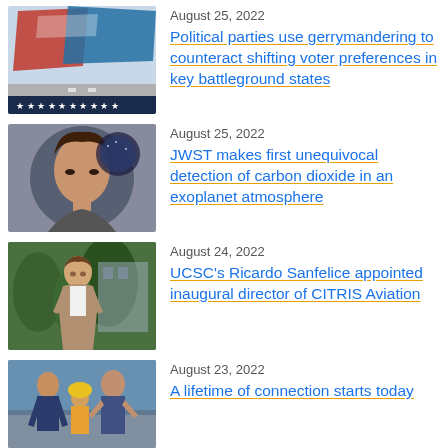[Figure (illustration): Colorful illustration of US political map with red, blue and white shapes and stars at bottom]
August 25, 2022
Political parties use gerrymandering to counteract shifting voter preferences in key battleground states
[Figure (photo): Photo of a woman with dark hair looking slightly upward, circle-cropped]
August 25, 2022
JWST makes first unequivocal detection of carbon dioxide in an exoplanet atmosphere
[Figure (photo): Photo of a man in a tan jacket standing outdoors in front of greenery]
August 24, 2022
UCSC's Ricardo Sanfelice appointed inaugural director of CITRIS Aviation
[Figure (photo): Photo of people, including a child in a yellow hat, outdoors]
August 23, 2022
A lifetime of connection starts today
[Figure (illustration): Illustration of a person's profile on orange background with colorful swirling pattern]
August 23, 2022
New mural in Sinsheimer Laboratories